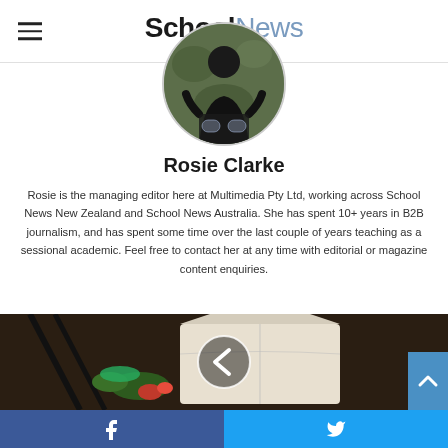SchoolNews NEW ZEALAND
[Figure (photo): Circular profile photo of Rosie Clarke, a woman in black clothing]
Rosie Clarke
Rosie is the managing editor here at Multimedia Pty Ltd, working across School News New Zealand and School News Australia. She has spent 10+ years in B2B journalism, and has spent some time over the last couple of years teaching as a sessional academic. Feel free to contact her at any time with editorial or magazine content enquiries.
[Figure (photo): Article thumbnail image showing a takeaway food box with chopsticks and vegetables, with a navigation arrow overlay]
Facebook share | Twitter share